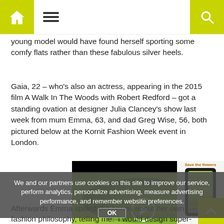Navigation bar with home, menu, and search icons
young model would have found herself sporting some comfy flats rather than these fabulous silver heels.
Gaia, 22 – who's also an actress, appearing in the 2015 film A Walk In The Woods with Robert Redford – got a standing ovation at designer Julia Clancey's show last week from mum Emma, 63, and dad Greg Wise, 56, both pictured below at the Kornit Fashion Week event in London.
[Figure (screenshot): Video thumbnail showing animated plant/flower character with play button, alongside a mobile app advertisement for 'Save the flowers' showing 'HELP US!' text]
We and our partners use cookies on this site to improve our service, perform analytics, personalize advertising, measure advertising performance, and remember website preferences.
OK
Afterwards Emma spilled the beans about her own fashion philosophy, telling me: 'I would design super-flat, comfortable shoes for everyone.'